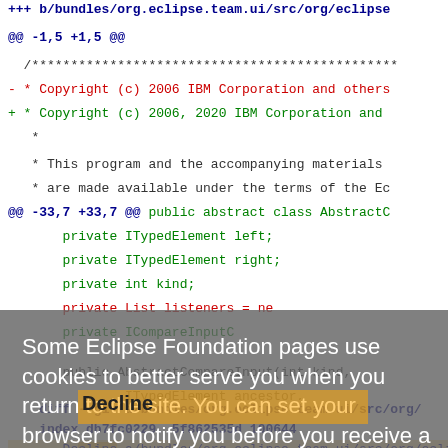[Figure (screenshot): Git diff output showing code changes with cookie consent overlay dialog on top. The diff shows copyright year changes in Eclipse bundles. A semi-transparent gray cookie notice overlays the middle portion, with a Decline button highlighted in orange.]
Some Eclipse Foundation pages use cookies to better serve you when you return to the site. You can set your browser to notify you before you receive a cookie or turn off cookies. If you do so, however, some areas of some sites may not function properly. To read Eclipse Foundation Privacy Policy click here.